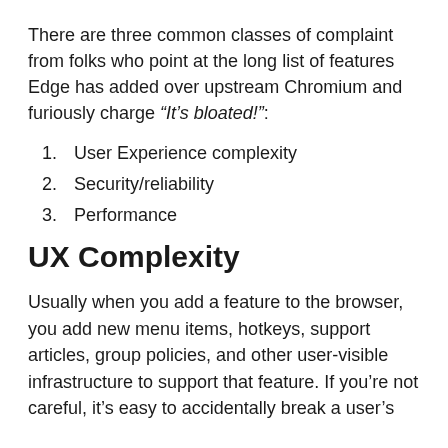There are three common classes of complaint from folks who point at the long list of features Edge has added over upstream Chromium and furiously charge “It’s bloated!”:
1. User Experience complexity
2. Security/reliability
3. Performance
UX Complexity
Usually when you add a feature to the browser, you add new menu items, hotkeys, support articles, group policies, and other user-visible infrastructure to support that feature. If you’re not careful, it’s easy to accidentally break a user’s